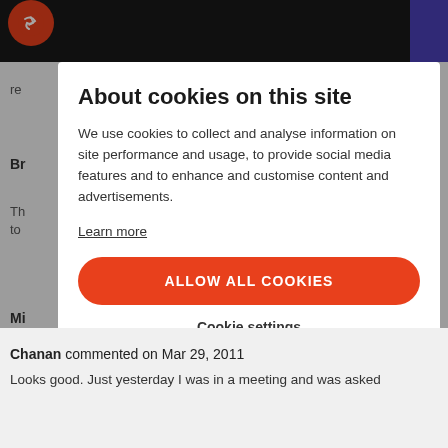[Navigation bar with logo]
About cookies on this site
We use cookies to collect and analyse information on site performance and usage, to provide social media features and to enhance and customise content and advertisements.
Learn more
ALLOW ALL COOKIES
Cookie settings
Chanan commented on Mar 29, 2011
Looks good. Just yesterday I was in a meeting and was asked